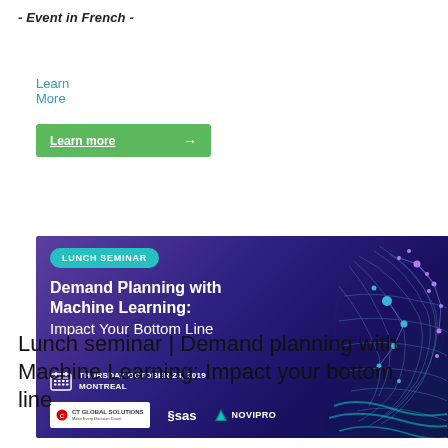- Event in French -
Learn More
Learn more →
[Figure (illustration): Lunch seminar banner with purple/blue gradient background, featuring a digital human head profile made of network dots and lines on the right. Contains: 'LUNCH SEMINAR' pill badge in teal, bold white title 'Demand Planning with Machine Learning: Impact Your Bottom Line', date info 'THURSDAY OCTOBER 24, 2019 MONTREAL' with calendar icon, and logos for CT Global Solutions, SAS, and NOVIPRO at the bottom.]
Lunch seminar | Demand planning with Machine Learning: Impact your bottom line